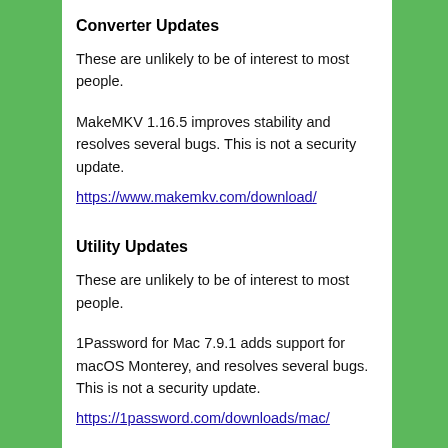Converter Updates
These are unlikely to be of interest to most people.
MakeMKV 1.16.5 improves stability and resolves several bugs. This is not a security update.
https://www.makemkv.com/download/
Utility Updates
These are unlikely to be of interest to most people.
1Password for Mac 7.9.1 adds support for macOS Monterey, and resolves several bugs. This is not a security update.
https://1password.com/downloads/mac/
1Password for Windows 7.9.828 resolves several bugs. This is not a security update.
https://1password.com/downloads/windows/
AccessEnum 1.33 updates libraries. This is not a security